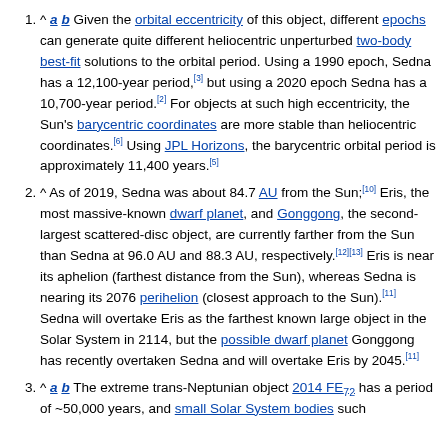^ a b Given the orbital eccentricity of this object, different epochs can generate quite different heliocentric unperturbed two-body best-fit solutions to the orbital period. Using a 1990 epoch, Sedna has a 12,100-year period,[3] but using a 2020 epoch Sedna has a 10,700-year period.[2] For objects at such high eccentricity, the Sun's barycentric coordinates are more stable than heliocentric coordinates.[6] Using JPL Horizons, the barycentric orbital period is approximately 11,400 years.[5]
^ As of 2019, Sedna was about 84.7 AU from the Sun;[10] Eris, the most massive-known dwarf planet, and Gonggong, the second-largest scattered-disc object, are currently farther from the Sun than Sedna at 96.0 AU and 88.3 AU, respectively.[12][13] Eris is near its aphelion (farthest distance from the Sun), whereas Sedna is nearing its 2076 perihelion (closest approach to the Sun).[11] Sedna will overtake Eris as the farthest known large object in the Solar System in 2114, but the possible dwarf planet Gonggong has recently overtaken Sedna and will overtake Eris by 2045.[11]
^ a b The extreme trans-Neptunian object 2014 FE72 has a period of ~50,000 years, and small Solar System bodies such